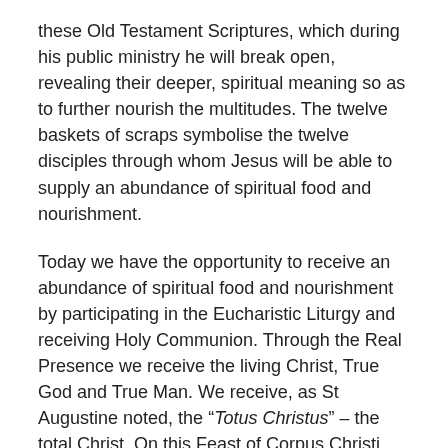these Old Testament Scriptures, which during his public ministry he will break open, revealing their deeper, spiritual meaning so as to further nourish the multitudes. The twelve baskets of scraps symbolise the twelve disciples through whom Jesus will be able to supply an abundance of spiritual food and nourishment.
Today we have the opportunity to receive an abundance of spiritual food and nourishment by participating in the Eucharistic Liturgy and receiving Holy Communion. Through the Real Presence we receive the living Christ, True God and True Man. We receive, as St Augustine noted, the “Totus Christus” – the total Christ. On this Feast of Corpus Christi, may we remain ever mindful that Jesus is our eternal source of nourishment, he is the “bread of life” (Jn 6:35).